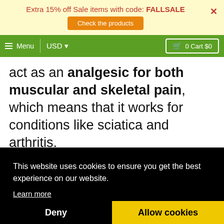Extra 15% off Sale items with code: FALLSALE
Check the products
≡ Menu  |  USD ▾    🛒 0 Cart $0
act as an analgesic for both muscular and skeletal pain, which means that it works for conditions like sciatica and arthritis.
In both cases, the oil reduces your
on
This website uses cookies to ensure you get the best experience on our website.
Learn more
Deny
Allow cookies
ally
as effective, with some users reporting even